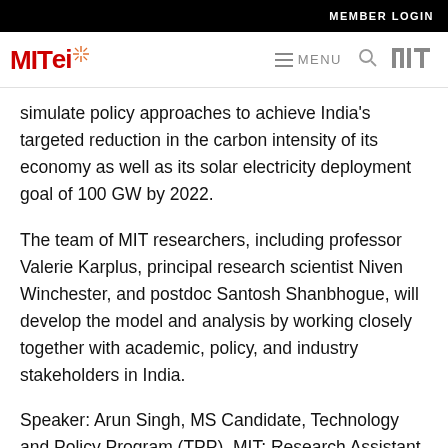MEMBER LOGIN
simulate policy approaches to achieve India's targeted reduction in the carbon intensity of its economy as well as its solar electricity deployment goal of 100 GW by 2022.
The team of MIT researchers, including professor Valerie Karplus, principal research scientist Niven Winchester, and postdoc Santosh Shanbhogue, will develop the model and analysis by working closely together with academic, policy, and industry stakeholders in India.
Speaker: Arun Singh, MS Candidate, Technology and Policy Program (TPP), MIT; Research Assistant, MIT